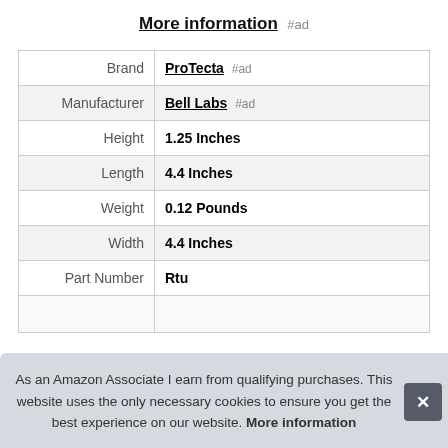More information #ad
|  |  |
| --- | --- |
| Brand | ProTecta #ad |
| Manufacturer | Bell Labs #ad |
| Height | 1.25 Inches |
| Length | 4.4 Inches |
| Weight | 0.12 Pounds |
| Width | 4.4 Inches |
| Part Number | Rtu |
|  |  |
As an Amazon Associate I earn from qualifying purchases. This website uses the only necessary cookies to ensure you get the best experience on our website. More information